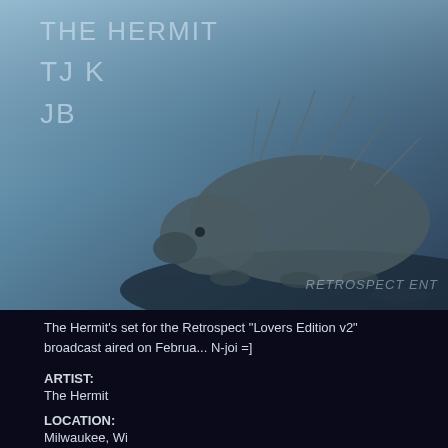[Figure (photo): Album/broadcast artwork showing silhouette of a porcupine or hedgehog animal against a blue-tinted misty background. Overlay text reads 'THE HERMIT', 'TJ K', 'JB'. Watermark text in italic at bottom right reads 'RETROSPECT ENT'.]
The Hermit's set for the Retrospect "Lovers Edition v2" broadcast aired on Februa... N-joi =]
ARTIST:
The Hermit
LOCATION:
Milwaukee, Wi
AFFILIATION:
No Coast Muzik, Retrospect, JiggyJamz Vinyl
WEBLINKS:
www.infinitesonicoutput.com